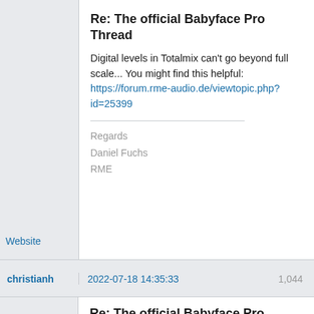Re: The official Babyface Pro Thread
Digital levels in Totalmix can't go beyond full scale... You might find this helpful: https://forum.rme-audio.de/viewtopic.php?id=25399
Regards
Daniel Fuchs
RME
Website
christianh
2022-07-18 14:35:33
1,044
Re: The official Babyface Pro Thread
RME Support wrote:
Digital levels in Totalmix can't go beyond